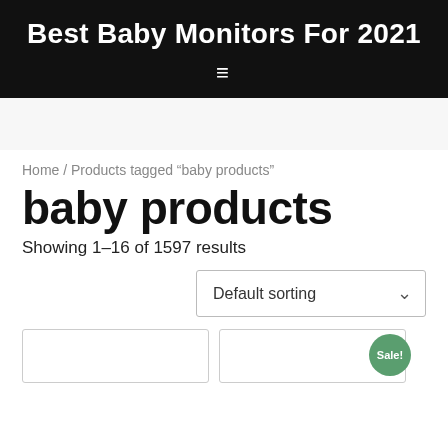Best Baby Monitors For 2021
Home / Products tagged “baby products”
baby products
Showing 1–16 of 1597 results